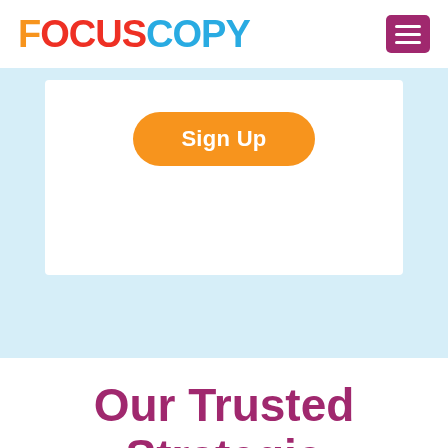[Figure (logo): FocusCopy logo with colorful lettering — FOCUS in orange/red and COPY in light blue, with a circular O in COPY]
[Figure (other): Hamburger menu icon (three white lines) on a magenta/dark pink rounded square background]
[Figure (other): Light blue background section containing a white card with an orange Sign Up button]
Our Trusted Strategic Partners